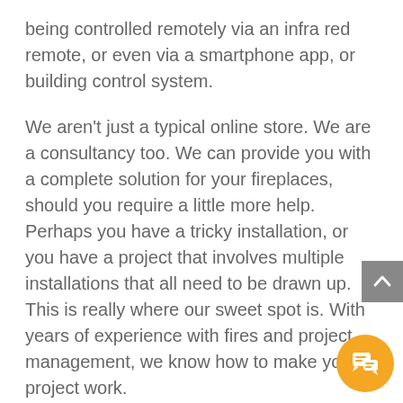being controlled remotely via an infra red remote, or even via a smartphone app, or building control system.
We aren't just a typical online store. We are a consultancy too. We can provide you with a complete solution for your fireplaces, should you require a little more help. Perhaps you have a tricky installation, or you have a project that involves multiple installations that all need to be drawn up. This is really where our sweet spot is. With years of experience with fires and project management, we know how to make your project work.
Bioethanol fires are incredibly flexible in terms of their use and where you can install them. There